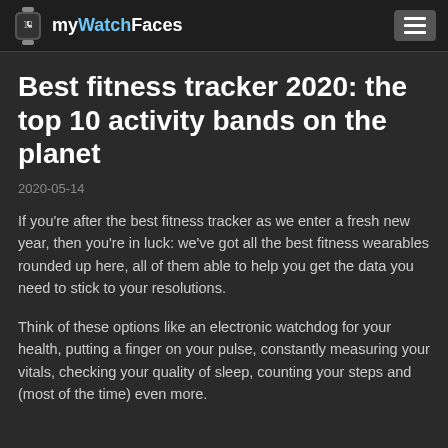myWatchFaces
Best fitness tracker 2020: the top 10 activity bands on the planet
2020-05-14
If you're after the best fitness tracker as we enter a fresh new year, then you're in luck: we've got all the best fitness wearables rounded up here, all of them able to help you get the data you need to stick to your resolutions.
Think of these options like an electronic watchdog for your health, putting a finger on your pulse, constantly measuring your vitals, checking your quality of sleep, counting your steps and (most of the time) even more.